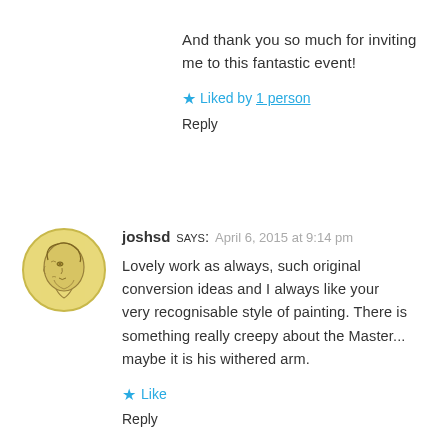And thank you so much for inviting me to this fantastic event!
★ Liked by 1 person
Reply
[Figure (illustration): Circular avatar with yellow/gold background showing a profile sketch of a face in classical engraving style]
joshsd says: April 6, 2015 at 9:14 pm
Lovely work as always, such original conversion ideas and I always like your very recognisable style of painting. There is something really creepy about the Master... maybe it is his withered arm.
★ Like
Reply